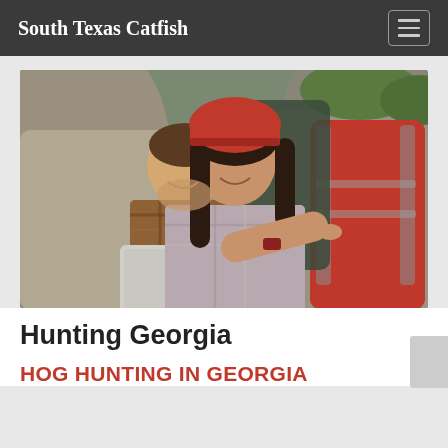South Texas Catfish
[Figure (photo): Two young hikers with large red and black backpacks sitting outdoors against a rocky background. A woman wearing a red beanie hat and plaid shirt is pointing and smiling, while a man in a plaid shirt holds a tablet.]
Hunting Georgia
HOG HUNTING IN GEORGIA